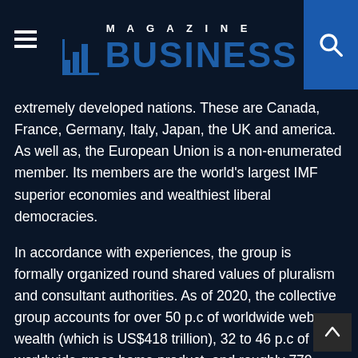MAGAZINE BUSINESS
extremely developed nations. These are Canada, France, Germany, Italy, Japan, the UK and america. As well as, the European Union is a non-enumerated member. Its members are the world's largest IMF superior economies and wealthiest liberal democracies.
In accordance with experiences, the group is formally organized round shared values of pluralism and consultant authorities. As of 2020, the collective group accounts for over 50 p.c of worldwide web wealth (which is US$418 trillion), 32 to 46 p.c of worldwide gross home product, and roughly 770 million folks or 10 p.c of the world's inhabitants.
Its members are nice powers in international affairs a preserve mutually shut political, financial, social,